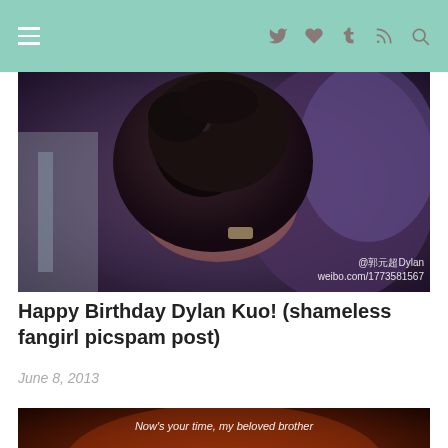Navigation bar with hamburger menu and social icons: Twitter, heart, Tumblr, RSS, Search
[Figure (photo): Person holding a black fluffy dog, with Weibo watermark: @郭元超Dylan weibo.com/1773581567]
Happy Birthday Dylan Kuo! (shameless fangirl picspam post)
June 8, 2013
[Figure (photo): Movie/drama promotional image with text 'Now's your time, my beloved brother' and countdown '02:06:34' with a silhouette figure on orange/red background]